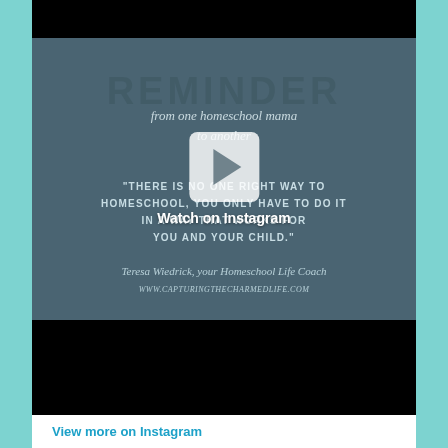[Figure (screenshot): Instagram video embed showing a teal/dark-blue slide with text 'REMINDER from one homeschool mama to another' and quote 'THERE IS NO ONE RIGHT WAY TO HOMESCHOOL, YOU ONLY HAVE TO DO IT IN A WAY THAT WORKS FOR YOU AND YOUR CHILD.' attributed to Teresa Wiedrick, your Homeschool Life Coach. A play button overlay and 'Watch on Instagram' label are visible.]
View more on Instagram